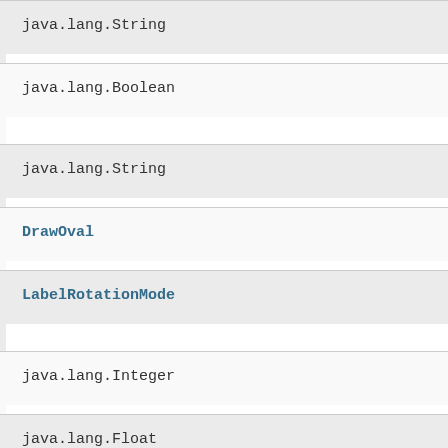java.lang.String
java.lang.Boolean
java.lang.String
DrawOval
LabelRotationMode
java.lang.Integer
java.lang.Float